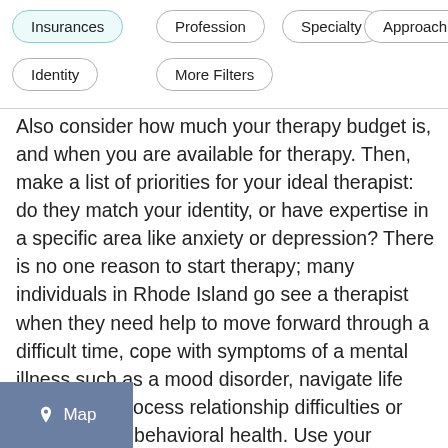Insurances
Profession
Specialty
Approach
Identity
More Filters
Also consider how much your therapy budget is, and when you are available for therapy. Then, make a list of priorities for your ideal therapist: do they match your identity, or have expertise in a specific area like anxiety or depression? There is no one reason to start therapy; many individuals in Rhode Island go see a therapist when they need help to move forward through a difficult time, cope with symptoms of a mental illness such as a mood disorder, navigate life transitions, process relationship difficulties or improve their behavioral health. Use your priorities to filter on Zencare by insurance, speciality, and availability. Look through a few provider profiles to find a therapist you might click with, watch their introductory videos, and book a free call to find a great personal fit!
[Figure (other): Map button with location pin icon]